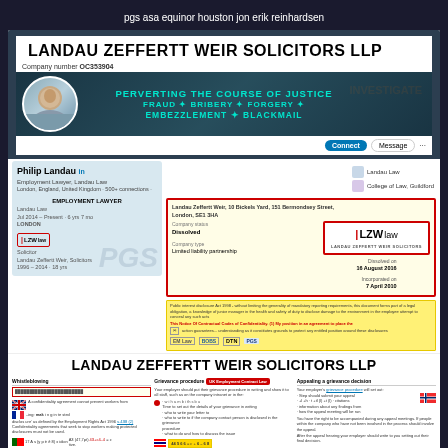pgs asa equinor houston jon erik reinhardsen
LANDAU ZEFFERTT WEIR SOLICITORS LLP
Company number OC353904
INVESTIGATE
PERVERTING THE COURSE OF JUSTICE
FRAUD ✦ BRIBERY ✦ FORGERY ✦
EMBEZZLEMENT ✦ BLACKMAIL
[Figure (photo): LinkedIn profile screenshot of Philip Landau, Employment Lawyer at Landau Law, London, England, United Kingdom. Shows profile photo, connections, LZW law logo, company registration card for Landau Zeffertt Weir showing dissolved status and incorporated date 7 April 2010.]
LANDAU ZEFFERTT WEIR SOLICITORS LLP
Whistleblowing section, Grievance procedure section with UK Employment Contract Law badge, Appealing a grievance decision section. Various flags visible. On Wednesday, October 19, 2016 3:24 PM, Philip Landau <pl@landaulaw.co.uk> wrote: